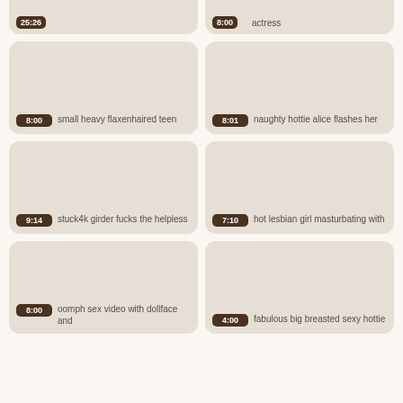[Figure (screenshot): Partial video thumbnail card at top left with timestamp badge showing truncated time]
[Figure (screenshot): Partial video thumbnail card at top right with timestamp 8:00 and text 'actress']
[Figure (screenshot): Video thumbnail card with timestamp 8:00 and title 'small heavy flaxenhaired teen']
[Figure (screenshot): Video thumbnail card with timestamp 8:01 and title 'naughty hottie alice flashes her']
[Figure (screenshot): Video thumbnail card with timestamp 9:14 and title 'stuck4k girder fucks the helpless']
[Figure (screenshot): Video thumbnail card with timestamp 7:10 and title 'hot lesbian girl masturbating with']
[Figure (screenshot): Video thumbnail card with timestamp 8:00 and title 'oomph sex video with dollface and']
[Figure (screenshot): Video thumbnail card with timestamp 4:00 and title 'fabulous big breasted sexy hottie']